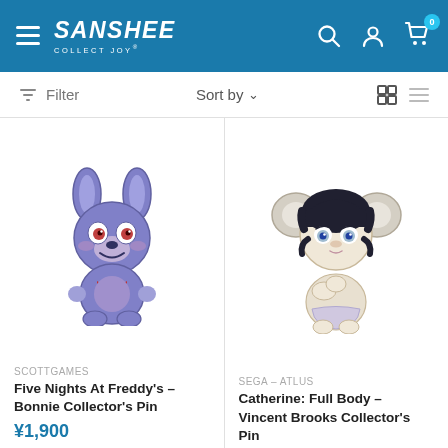Sanshee – Collect Joy | Header navigation with hamburger menu, search, account, and cart (0 items)
Filter   Sort by ∨   [grid view] [list view]
[Figure (illustration): Chibi-style blue/purple bunny character (Bonnie from FNAF) with red bow tie, seated, on a product card]
SCOTTGAMES
Five Nights At Freddy's – Bonnie Collector's Pin
¥1,900
[Figure (illustration): Chibi-style anime girl with dark hair and large pale ears (Vincent Brooks from Catherine: Full Body), kneeling, on a product card]
SEGA – ATLUS
Catherine: Full Body – Vincent Brooks Collector's Pin